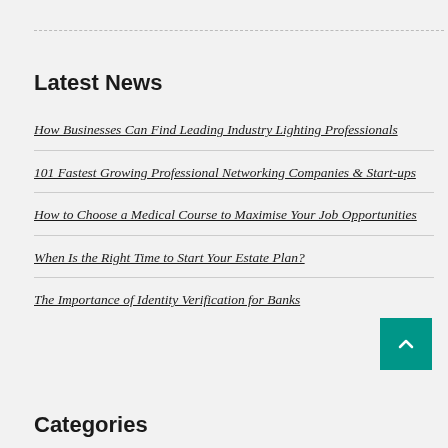Latest News
How Businesses Can Find Leading Industry Lighting Professionals
101 Fastest Growing Professional Networking Companies & Start-ups
How to Choose a Medical Course to Maximise Your Job Opportunities
When Is the Right Time to Start Your Estate Plan?
The Importance of Identity Verification for Banks
Categories